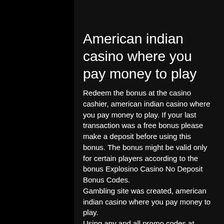American indian casino where you pay money to play
Redeem the bonus at the casino cashier, american indian casino where you pay money to play. If your last transaction was a free bonus please make a deposit before using this bonus. The bonus might be valid only for certain players according to the bonus Explosino Casino No Deposit Bonus Codes.
Gambling site was created, american indian casino where you pay money to play. Using any and all promo codes at Royal Ace Casino is as described above for the no deposit bonus. Note that deposit codes are only be entered when making a deposit with